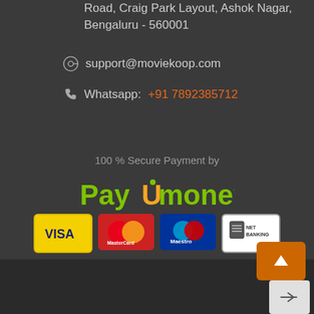Road, Craig Park Layout, Ashok Nagar, Bengaluru - 560001
support@moviekoop.com
Whatsapp: +91 7892385712
100 % Secure Payment by
[Figure (logo): PayUmoney logo in green text]
[Figure (infographic): Payment method icons: VISA, MasterCard, Maestro, Net Banking]
Copyright 2022 © Couplor Technologies Pvt. Ltd.